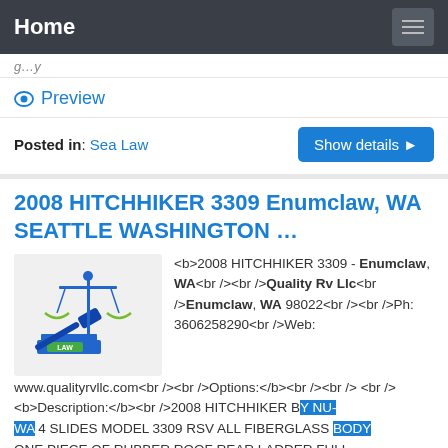Home
(navigation breadcrumb — partially visible)
Preview
Posted in: Sea Law
2008 HITCHHIKER 3309 Enumclaw, WA SEATTLE WASHINGTON …
[Figure (illustration): Blue scales of justice with gavel and law book with LAW label — legal clip art icon]
<b>2008 HITCHHIKER 3309 - Enumclaw, WA<br /><br />Quality Rv Llc<br />Enumclaw, WA 98022<br /><br />Ph: 3606258290<br />Web: www.qualityrvllc.com<br /><br />Options:</b><br /><br /><br /><b>Description:</b><br />2008 HITCHHIKER BY NU-WA 4 SLIDES MODEL 3309 RSV ALL FIBERGLASS BODY ONE PIECE OF RUBBER ROOF REAR LADDER FULL